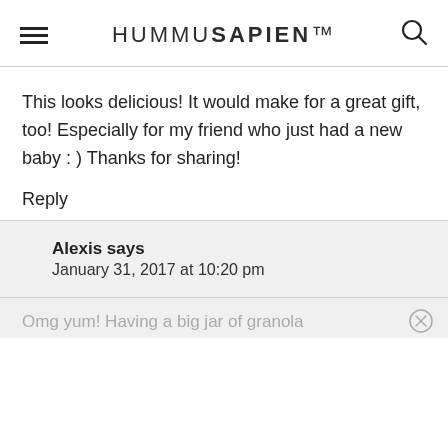HUMMUSAPIEN
This looks delicious! It would make for a great gift, too! Especially for my friend who just had a new baby : ) Thanks for sharing!
Reply
Alexis says
January 31, 2017 at 10:20 pm
Omg yum! Having a big jar of granola